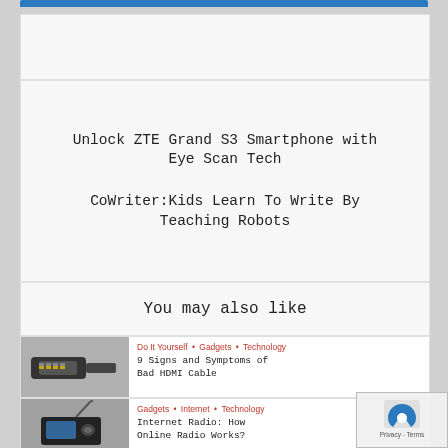[Figure (screenshot): Blue navigation bar at the top of a webpage]
Unlock ZTE Grand S3 Smartphone with Eye Scan Tech
CoWriter:Kids Learn To Write By Teaching Robots
You may also like
[Figure (photo): HDMI cable connector close-up photo]
Do It Yourself • Gadgets • Technology
9 Signs and Symptoms of Bad HDMI Cable
[Figure (photo): Internet radio device photo]
Gadgets • Internet • Technology
Internet Radio: How Online Radio Works?